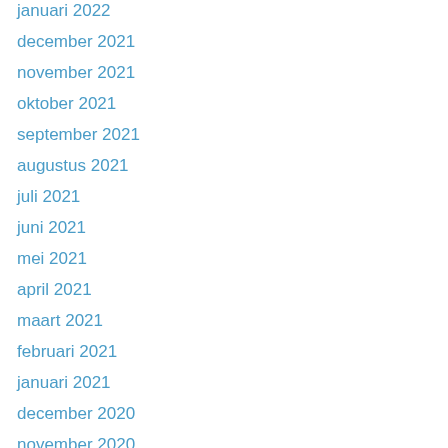januari 2022
december 2021
november 2021
oktober 2021
september 2021
augustus 2021
juli 2021
juni 2021
mei 2021
april 2021
maart 2021
februari 2021
januari 2021
december 2020
november 2020
oktober 2020
september 2020
augustus 2020
juli 2020
juni 2020